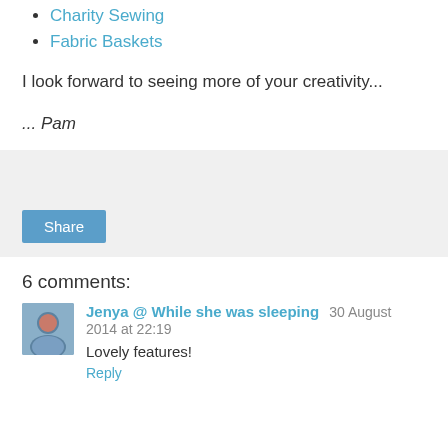Charity Sewing
Fabric Baskets
I look forward to seeing more of your creativity...
... Pam
[Figure (other): Share button widget area with light gray background]
6 comments:
Jenya @ While she was sleeping  30 August 2014 at 22:19
Lovely features!
Reply